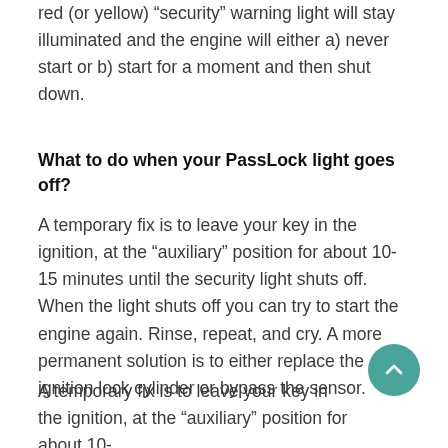red (or yellow) “security” warning light will stay illuminated and the engine will either a) never start or b) start for a moment and then shut down.
What to do when your PassLock light goes off?
A temporary fix is to leave your key in the ignition, at the “auxiliary” position for about 10-15 minutes until the security light shuts off. When the light shuts off you can try to start the engine again. Rinse, repeat, and cry. A more permanent solution is to either replace the ignition lock cylinder or bypass the sensor.
A temporary fix is to leave your key in the ignition, at the “auxiliary” position for about 10-15 minutes until the security light shuts off.